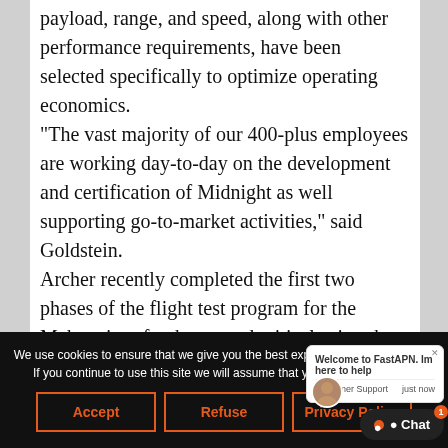payload, range, and speed, along with other performance requirements, have been selected specifically to optimize operating economics. “The vast majority of our 400-plus employees are working day-to-day on the development and certification of Midnight as well supporting go-to-market activities,” said Goldstein. Archer recently completed the first two phases of the flight test program for the Maker aircraft—hover and critical azimuth. The third phase currently underway includes evaluation of Maker’s performance requirements in...
We use cookies to ensure that we give you the best experience on our website. If you continue to use this site we will assume that you are happy with it.
Accept | Refuse | Privacy Policy
Welcome to FastAPN. Im here to help
Customer Support
just now
Chat